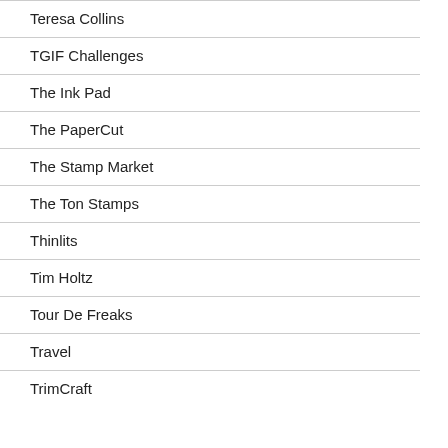Teresa Collins
TGIF Challenges
The Ink Pad
The PaperCut
The Stamp Market
The Ton Stamps
Thinlits
Tim Holtz
Tour De Freaks
Travel
TrimCraft